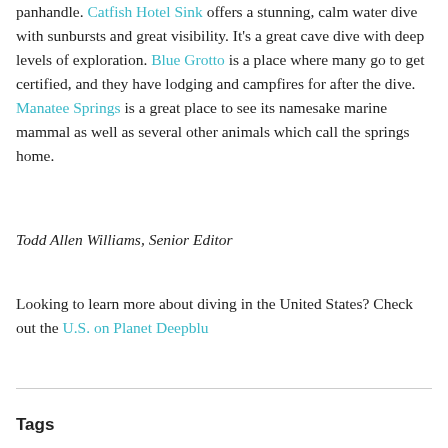panhandle. Catfish Hotel Sink offers a stunning, calm water dive with sunbursts and great visibility. It's a great cave dive with deep levels of exploration. Blue Grotto is a place where many go to get certified, and they have lodging and campfires for after the dive. Manatee Springs is a great place to see its namesake marine mammal as well as several other animals which call the springs home.
Todd Allen Williams, Senior Editor
Looking to learn more about diving in the United States? Check out the U.S. on Planet Deepblu
Tags